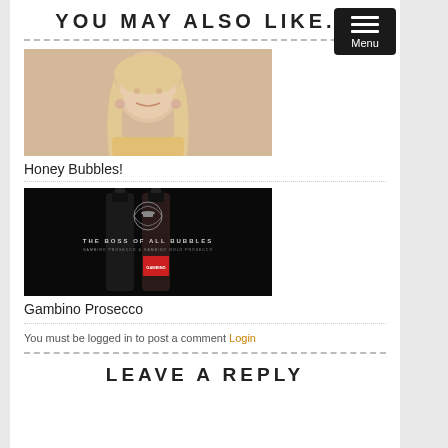YOU MAY ALSO LIKE...
[Figure (photo): Portrait photo of a smiling blonde woman]
Honey Bubbles!
[Figure (photo): Dark promotional image for Gambino Prosecco - 'The Boss of All Bubbles, Gambino Prosecco & Gambino Gold Prosecco' with two bottles]
Gambino Prosecco
You must be logged in to post a comment Login
LEAVE A REPLY